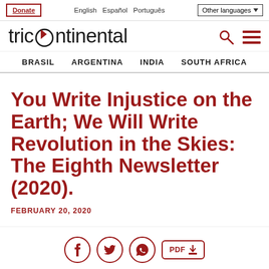Donate  English  Español  Português  Other languages
[Figure (logo): Tricontinental logo with stylized globe replacing the letter O]
BRASIL  ARGENTINA  INDIA  SOUTH AFRICA
You Write Injustice on the Earth; We Will Write Revolution in the Skies: The Eighth Newsletter (2020).
FEBRUARY 20, 2020
[Figure (infographic): Social share icons: Facebook, Twitter, WhatsApp circles, and PDF download button]